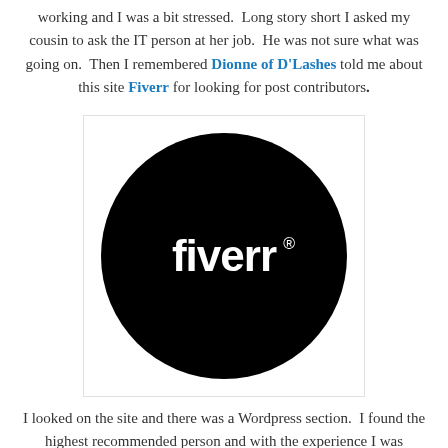working and I was a bit stressed.  Long story short I asked my cousin to ask the IT person at her job.  He was not sure what was going on.  Then I remembered Dionne of D'Lashes told me about this site Fiverr for looking for post contributors.
[Figure (logo): Fiverr logo: white lowercase 'fiverr' text with registered trademark symbol on a black circle, inside a white square with light border.]
I looked on the site and there was a Wordpress section.  I found the highest recommended person and with the experience I was looking for.  I contacted Takrim at 7am and